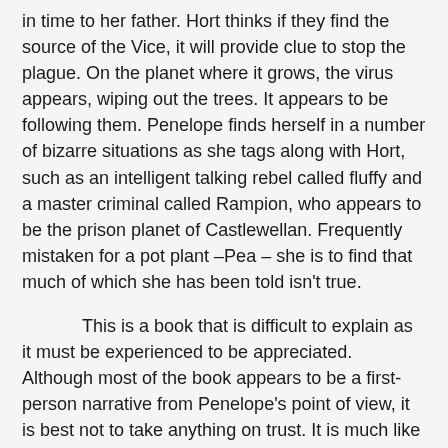in time to her father. Hort thinks if they find the source of the Vice, it will provide clue to stop the plague. On the planet where it grows, the virus appears, wiping out the trees. It appears to be following them. Penelope finds herself in a number of bizarre situations as she tags along with Hort, such as an intelligent talking rebel called fluffy and a master criminal called Rampion, who appears to be the prison planet of Castlewellan. Frequently mistaken for a pot plant –Pea – she is to find that much of which she has been told isn't true.
This is a book that is difficult to explain as it must be experienced to be appreciated. Although most of the book appears to be a first-person narrative from Penelope's point of view, it is best not to take anything on trust. It is much like going on a road trip under the influence of LSD. At times the narrative descends into the bizarre. Interspersed are recordings made by her daughter Lily detailing the last days of life on Earth. Some knowledge of plant nomenclature will enhance your